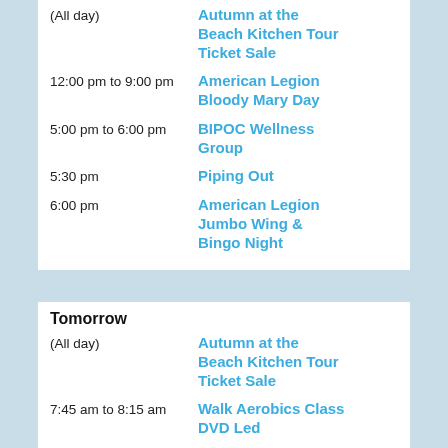(All day) — Autumn at the Beach Kitchen Tour Ticket Sale
12:00 pm to 9:00 pm — American Legion Bloody Mary Day
5:00 pm to 6:00 pm — BIPOC Wellness Group
5:30 pm — Piping Out
6:00 pm — American Legion Jumbo Wing & Bingo Night
Tomorrow
(All day) — Autumn at the Beach Kitchen Tour Ticket Sale
7:45 am to 8:15 am — Walk Aerobics Class DVD Led
8:00 am to 11:00 am — Wood Carving Group
8:00 am to 4:00 pm — Fitness Room open
8:00 am to 9:00 am — Cardio Blast Class